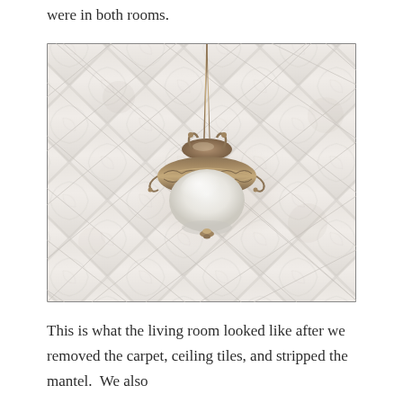were in both rooms.
[Figure (photo): Photograph taken looking up at a white textured ceiling with decorative square tiles arranged in a herringbone/diagonal pattern. An ornate antique brass/bronze flush-mount ceiling light fixture with a frosted white globe shade hangs from the center of the image.]
This is what the living room looked like after we removed the carpet, ceiling tiles, and stripped the mantel.  We also